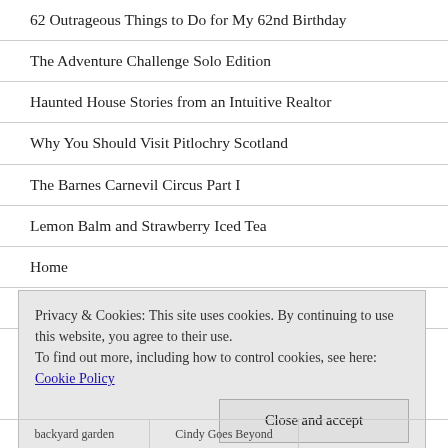62 Outrageous Things to Do for My 62nd Birthday
The Adventure Challenge Solo Edition
Haunted House Stories from an Intuitive Realtor
Why You Should Visit Pitlochry Scotland
The Barnes Carnevil Circus Part I
Lemon Balm and Strawberry Iced Tea
Home
Partner with Me
Privacy & Cookies: This site uses cookies. By continuing to use this website, you agree to their use.
To find out more, including how to control cookies, see here: Cookie Policy
Close and accept
| backyard garden | Cindy Goes Beyond |  |